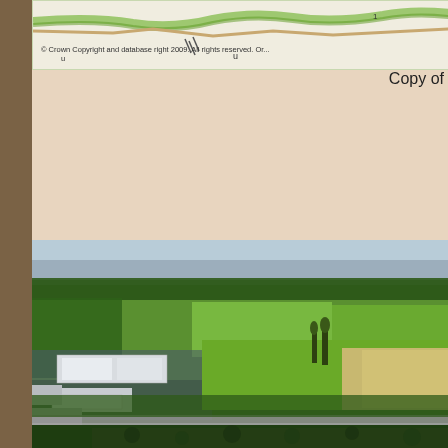[Figure (map): Partial view of an Ordnance Survey map with green road/path markings and copyright notice: '© Crown Copyright and database right 2009. All rights reserved. Or...']
Copy of
[Figure (photo): Aerial photograph showing industrial/warehouse buildings in lower left, surrounded by green fields, woodland, and a road cutting across the bottom. A town is visible in the far background.]